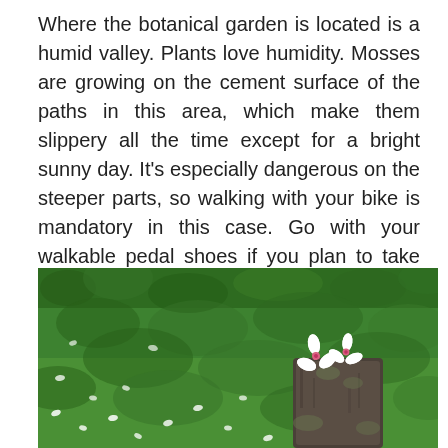Where the botanical garden is located is a humid valley. Plants love humidity. Mosses are growing on the cement surface of the paths in this area, which make them slippery all the time except for a bright sunny day. It's especially dangerous on the steeper parts, so walking with your bike is mandatory in this case. Go with your walkable pedal shoes if you plan to take this route. We were lucky to have the sun high up and dry the mosses, so that we could ride on our bikes slowly back to the main road.
[Figure (photo): Outdoor photograph showing white flowers resting on top of a dark stone or wooden post, with a lush green leafy background scattered with small white flower petals on the ground.]